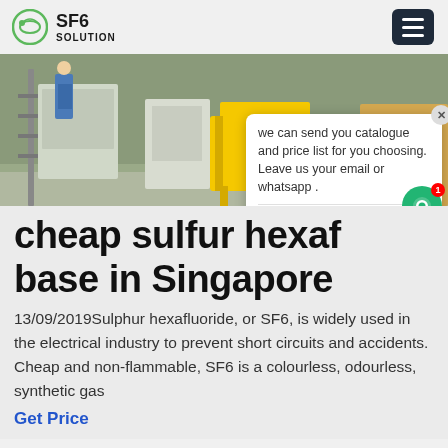SF6 SOLUTION
[Figure (photo): Outdoor industrial equipment scene with a yellow metal step platform, electrical enclosures, workers in blue coveralls, and construction machinery. SF6 gas handling equipment visible.]
we can send you catalogue and price list for you choosing. Leave us your email or whatsapp .
cheap sulfur hexaf... base in Singapore
13/09/2019Sulphur hexafluoride, or SF6, is widely used in the electrical industry to prevent short circuits and accidents. Cheap and non-flammable, SF6 is a colourless, odourless, synthetic gas
Get Price